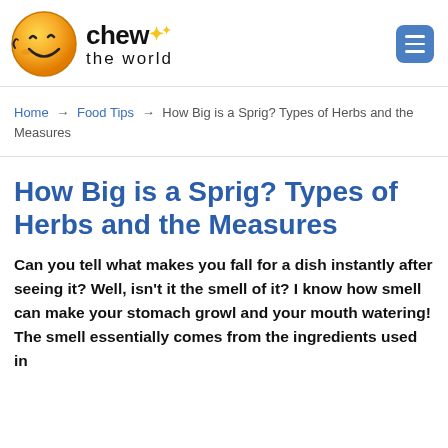[Figure (logo): Chew the World website logo: smiling face emoji circle on the left, 'chew' in bold with star sparkles and 'the world' text below, in black font]
Home → Food Tips → How Big is a Sprig? Types of Herbs and the Measures
How Big is a Sprig? Types of Herbs and the Measures
Can you tell what makes you fall for a dish instantly after seeing it? Well, isn't it the smell of it? I know how smell can make your stomach growl and your mouth watering! The smell essentially comes from the ingredients used in